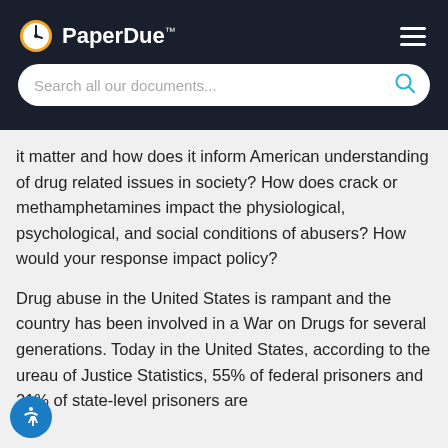PaperDue™
it matter and how does it inform American understanding of drug related issues in society? How does crack or methamphetamines impact the physiological, psychological, and social conditions of abusers? How would your response impact policy?
Drug abuse in the United States is rampant and the country has been involved in a War on Drugs for several generations. Today in the United States, according to the ureau of Justice Statistics, 55% of federal prisoners and 21% of state-level prisoners are